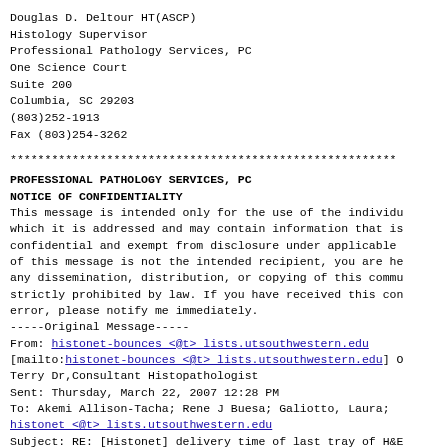Douglas D. Deltour HT(ASCP)
Histology Supervisor
Professional Pathology Services, PC
One Science Court
Suite 200
Columbia, SC 29203
(803)252-1913
Fax (803)254-3262
********************************************************
PROFESSIONAL PATHOLOGY SERVICES, PC
NOTICE OF CONFIDENTIALITY
This message is intended only for the use of the individu which it is addressed and may contain information that is confidential and exempt from disclosure under applicable of this message is not the intended recipient, you are he any dissemination, distribution, or copying of this commu strictly prohibited by law. If you have received this con error, please notify me immediately.
-----Original Message-----
From: histonet-bounces <@t> lists.utsouthwestern.edu
[mailto:histonet-bounces <@t> lists.utsouthwestern.edu] C Terry Dr,Consultant Histopathologist
Sent: Thursday, March 22, 2007 12:28 PM
To: Akemi Allison-Tacha; Rene J Buesa; Galiotto, Laura;
histonet <@t> lists.utsouthwestern.edu
Subject: RE: [Histonet] delivery time of last tray of H&E
This is all bloody unbelievable. Don't any of you sleep?
What is the point of working at night?